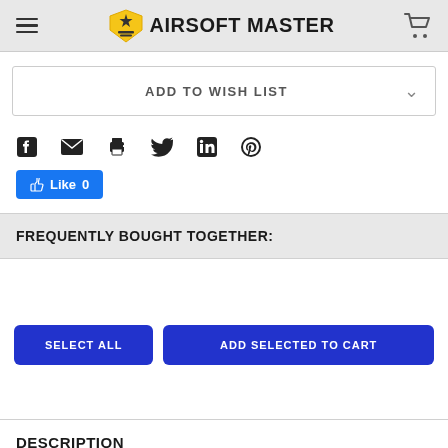AIRSOFT MASTER
ADD TO WISH LIST
[Figure (other): Social sharing icons row: Facebook, email, print, Twitter, LinkedIn, Pinterest]
Like 0
FREQUENTLY BOUGHT TOGETHER:
SELECT ALL  ADD SELECTED TO CART
DESCRIPTION